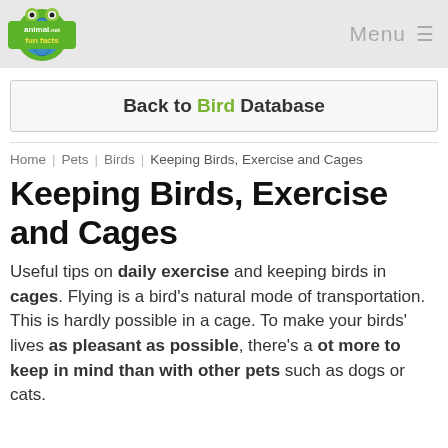animal fun facts .net | Menu
Back to Bird Database
Home | Pets | Birds | Keeping Birds, Exercise and Cages
Keeping Birds, Exercise and Cages
Useful tips on daily exercise and keeping birds in cages. Flying is a bird's natural mode of transportation. This is hardly possible in a cage. To make your birds' lives as pleasant as possible, there's a ot more to keep in mind than with other pets such as dogs or cats.